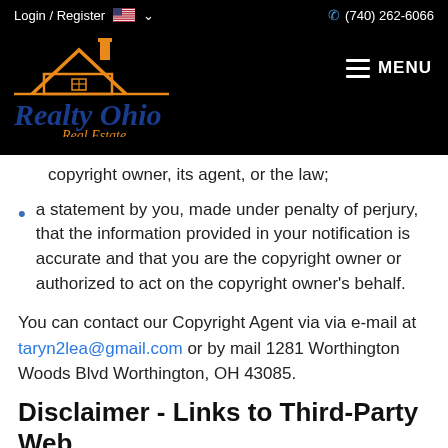Login / Register  🇺🇸 ∨    (740) 262-6066
[Figure (logo): Realty Ohio Real Estate logo with orange house icon and blue text on black background]
copyright owner, its agent, or the law;
a statement by you, made under penalty of perjury, that the information provided in your notification is accurate and that you are the copyright owner or authorized to act on the copyright owner's behalf.
You can contact our Copyright Agent via via e-mail at taryn2lea@gmail.com or by mail 1281 Worthington Woods Blvd Worthington, OH 43085.
Disclaimer - Links to Third-Party Web